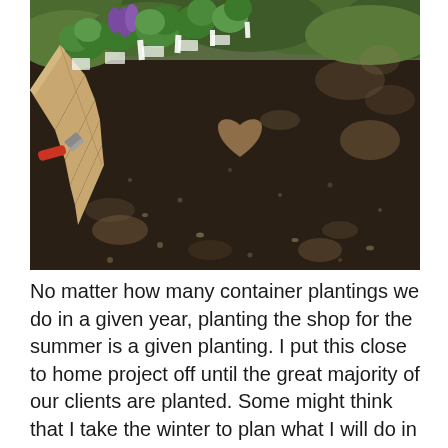[Figure (photo): Overhead view of a garden bed preparation area. A wooden plank borders the left side, with a row of potted green and purple flowering plants placed on it. The ground is dark soil/mulch. A heart-shaped light pattern is visible on the soil in the middle. A red-handled garden tool (trowel) rests on the board at the lower left. Trees cast dappled shadows in the background.]
No matter how many container plantings we do in a given year, planting the shop for the summer is a given planting. I put this close to home project off until the great majority of our clients are planted. Some might think that I take the winter to plan what I will do in the summer shop